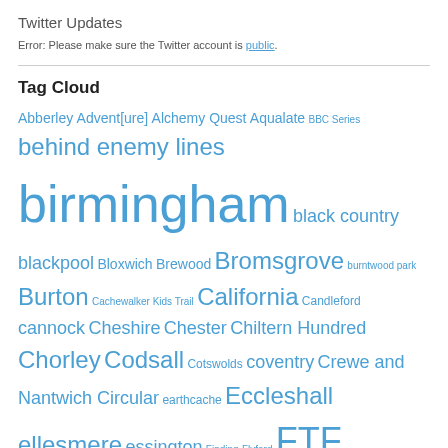Twitter Updates
Error: Please make sure the Twitter account is public.
Tag Cloud
Abberley Advent[ure] Alchemy Quest Aqualate BBC Series behind enemy lines birmingham black country blackpool Bloxwich Brewood Bromsgrove burntwood park Burton Cachewalker Kids Trail California Candleford cannock Cheshire Chester Chiltern Hundred Chorley Codsall Cotswolds coventry Crewe and Nantwich Circular earthcache Eccleshall ellesmere essington Finding Flyford FTF Geocaching Gnosall Great Bolas Himbleton Hide kirkham Lancashire Lark Rise leyland London Manchester market drayton Near home